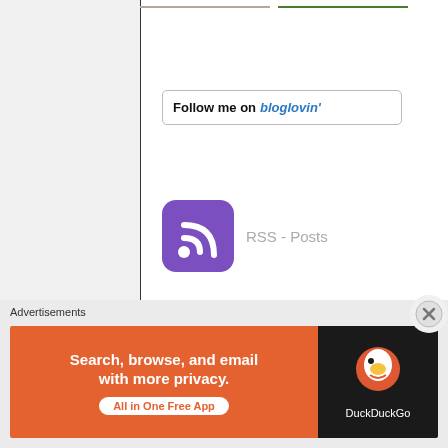[Figure (photo): Two photo thumbnails at top - left appears to be a gray/brown image, right appears to be a green plant/food image]
[Figure (screenshot): Follow me on bloglovin' button with rounded rectangle border, black bold text 'Follow me on' and blue italic bold text 'bloglovin']
[Figure (logo): Purple RSS feed icon (rounded square with white RSS signal arcs and dot) followed by gray text 'RSS - Posts']
[Figure (photo): Partial image with scalloped red/coral border at bottom, showing gray background with a small decorative finial/ornament figure]
Advertisements
[Figure (screenshot): DuckDuckGo advertisement banner: orange left side reads 'Search, browse, and email with more privacy. All in One Free App', black right side shows DuckDuckGo duck logo and text 'DuckDuckGo']